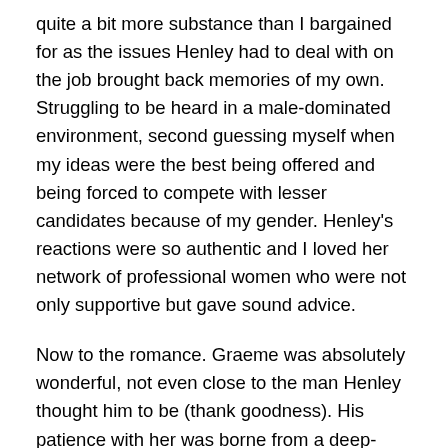quite a bit more substance than I bargained for as the issues Henley had to deal with on the job brought back memories of my own. Struggling to be heard in a male-dominated environment, second guessing myself when my ideas were the best being offered and being forced to compete with lesser candidates because of my gender. Henley's reactions were so authentic and I loved her network of professional women who were not only supportive but gave sound advice.
Now to the romance. Graeme was absolutely wonderful, not even close to the man Henley thought him to be (thank goodness). His patience with her was borne from a deep-seated admiration that had grown through their professional interactions. Their developing relationship during the cruise was well crafted, even if she was immature and annoying at times. The supporting